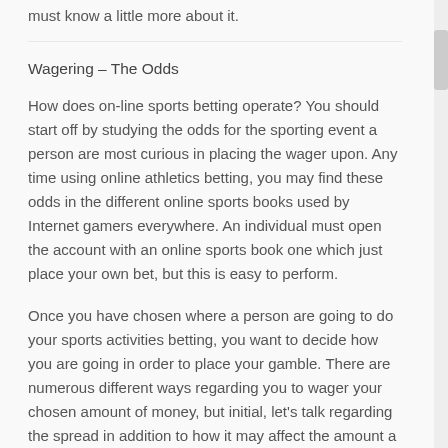must know a little more about it.
Wagering – The Odds
How does on-line sports betting operate? You should start off by studying the odds for the sporting event a person are most curious in placing the wager upon. Any time using online athletics betting, you may find these odds in the different online sports books used by Internet gamers everywhere. An individual must open the account with an online sports book one which just place your own bet, but this is easy to perform.
Once you have chosen where a person are going to do your sports activities betting, you want to decide how you are going in order to place your gamble. There are numerous different ways regarding you to wager your chosen amount of money, but initial, let's talk regarding the spread in addition to how it may affect the amount a